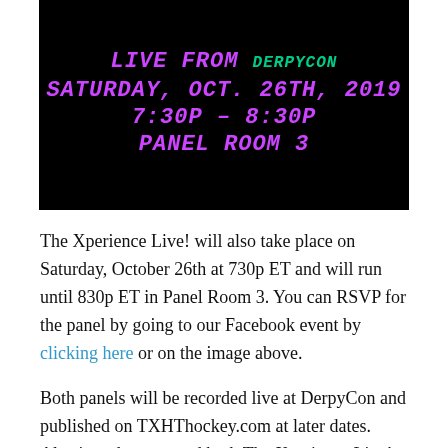[Figure (other): Black banner image with purple italic bold text reading: LIVE FROM DerpyCon / SATURDAY, OCT. 26TH, 2019 / 7:30P - 8:30P / PANEL ROOM 3]
The Xperience Live! will also take place on Saturday, October 26th at 730p ET and will run until 830p ET in Panel Room 3. You can RSVP for the panel by going to our Facebook event by clicking here or on the image above.
Both panels will be recorded live at DerpyCon and published on TXHThockey.com at later dates. Also in order to attend both The Xperience Live! and